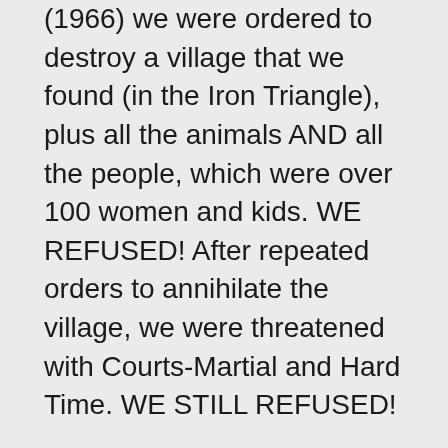(1966) we were ordered to destroy a village that we found (in the Iron Triangle), plus all the animals AND all the people, which were over 100 women and kids. WE REFUSED! After repeated orders to annihilate the village, we were threatened with Courts-Martial and Hard Time. WE STILL REFUSED! In combat, killing becomes necessary. What we were ordered to do was MURDER! Instead, we marched them out of the jungle, and to an internment camp at Ben Cat. It took us a full day, and along the way the platoon medic delivered a baby. We were not free of sin...